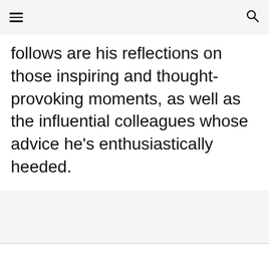≡ 🔍
follows are his reflections on those inspiring and thought-provoking moments, as well as the influential colleagues whose advice he's enthusiastically heeded.